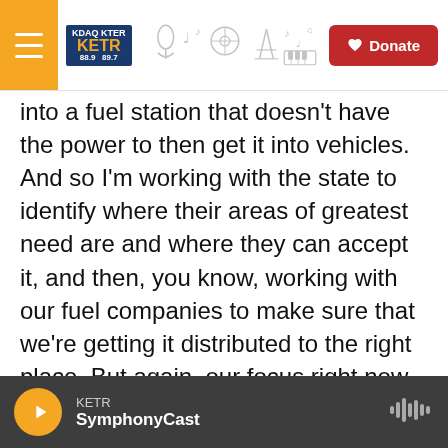KETR radio station header with hamburger menu, KETR logo, decorative icons, and Donate button
into a fuel station that doesn't have the power to then get it into vehicles. And so I'm working with the state to identify where their areas of greatest need are and where they can accept it, and then, you know, working with our fuel companies to make sure that we're getting it distributed to the right place. But again, our focus right now, too, is supporting fuel needs for our first responders. We want to make sure that they can continue to meet the needs of the citizens that have been impacted by this storm.
MARTINEZ: And I'm sure you know that FEMA has
KETR — SymphonyCast (audio player bar)